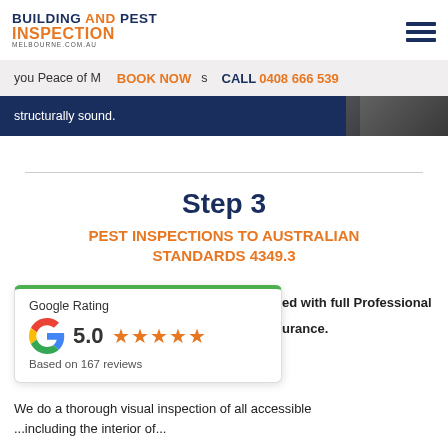BUILDING AND PEST INSPECTION MELBOURNE.COM.AU
BOOK NOW   CALL 0408 666 539
you Peace of M...s structurally sound.
Step 3
PEST INSPECTIONS TO AUSTRALIAN STANDARDS 4349.3
...ed with full Professional ...urance.
[Figure (infographic): Google Rating widget showing 5.0 stars based on 167 reviews with Google G logo]
We do a thorough visual inspection of all accessible ...including the interior of...